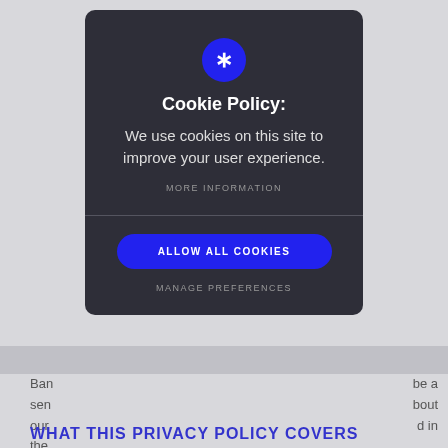[Figure (screenshot): Background webpage with grey overlay and cookie consent modal dialog box on top]
Cookie Policy:
We use cookies on this site to improve your user experience.
MORE INFORMATION
ALLOW ALL COOKIES
MANAGE PREFERENCES